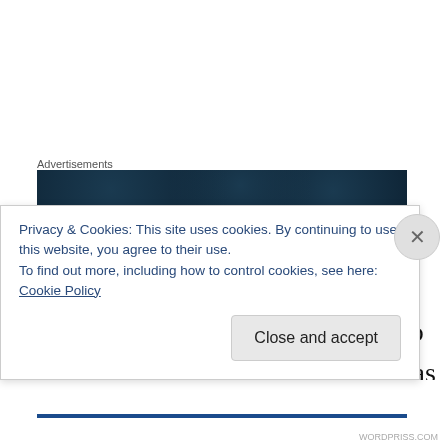Advertisements
[Figure (other): Dark navy advertisement banner with subtle circular dot highlights]
When Baron was eight years old, we found a knot in one of his mammary glands.  We took him to our veterinarian who thought it was just a cyst.  He recommended surgical excision.  I was majoring in animal science with a pre-vet emphasis at the time and had wanted to be a veterinarian since I was seven years old. I asked our vet (the one I
Privacy & Cookies: This site uses cookies. By continuing to use this website, you agree to their use.
To find out more, including how to control cookies, see here: Cookie Policy
Close and accept